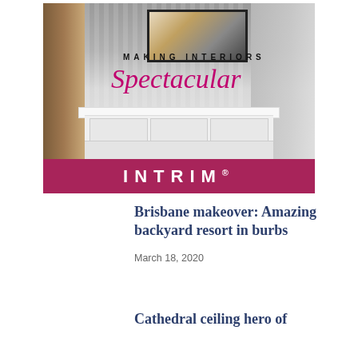[Figure (advertisement): Intrim interior trim advertisement showing a styled console table with artwork and plants in a modern room, with text 'Making Interiors Spectacular' and 'INTRIM' brand name on a wine/mauve bar below the photo.]
Brisbane makeover: Amazing backyard resort in burbs
March 18, 2020
Cathedral ceiling hero of